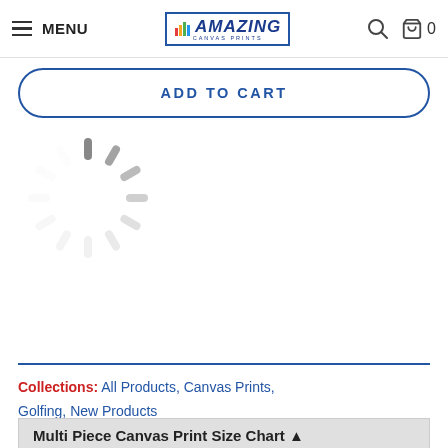MENU | Amazing Canvas Prints | [search] [cart] 0
ADD TO CART
[Figure (illustration): Circular loading spinner animation graphic in gray]
Collections: All Products, Canvas Prints, Golfing, New Products
Multi Piece Canvas Print Size Chart ▲